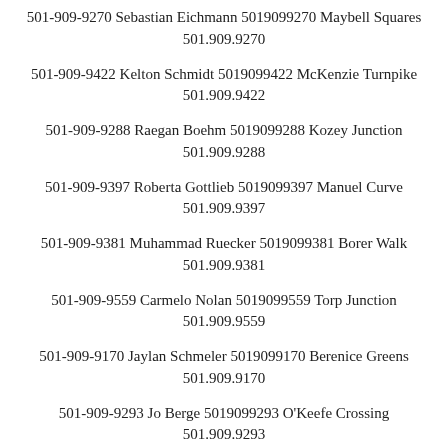501-909-9270 Sebastian Eichmann 5019099270 Maybell Squares 501.909.9270
501-909-9422 Kelton Schmidt 5019099422 McKenzie Turnpike 501.909.9422
501-909-9288 Raegan Boehm 5019099288 Kozey Junction 501.909.9288
501-909-9397 Roberta Gottlieb 5019099397 Manuel Curve 501.909.9397
501-909-9381 Muhammad Ruecker 5019099381 Borer Walk 501.909.9381
501-909-9559 Carmelo Nolan 5019099559 Torp Junction 501.909.9559
501-909-9170 Jaylan Schmeler 5019099170 Berenice Greens 501.909.9170
501-909-9293 Jo Berge 5019099293 O'Keefe Crossing 501.909.9293
501-909-9936 Joel Crist 5019099936 Gusikowski Points 501.909.9936